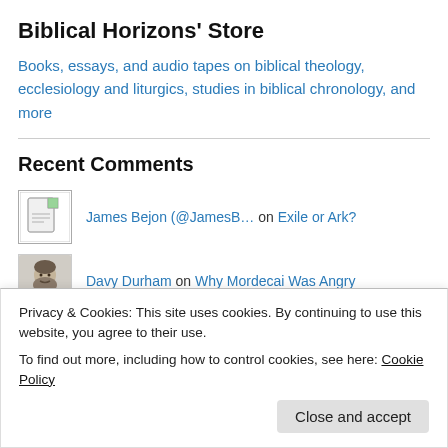Biblical Horizons' Store
Books, essays, and audio tapes on biblical theology, ecclesiology and liturgics, studies in biblical chronology, and more
Recent Comments
James Bejon (@JamesB… on Exile or Ark?
Davy Durham on Why Mordecai Was Angry
josie anthony on All Men Will Know You are My D…
Holy Week: Day 4: We… on Was the Last Supper a Passover
Privacy & Cookies: This site uses cookies. By continuing to use this website, you agree to their use.
To find out more, including how to control cookies, see here: Cookie Policy
Close and accept